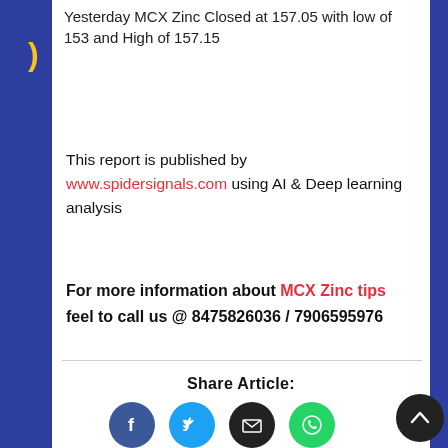Yesterday MCX Zinc Closed at 157.05 with low of 153 and High of 157.15
This report is published by www.spidersignals.com using AI & Deep learning analysis
For more information about MCX Zinc tips feel to call us @ 8475826036 / 7906595976
Share Article: